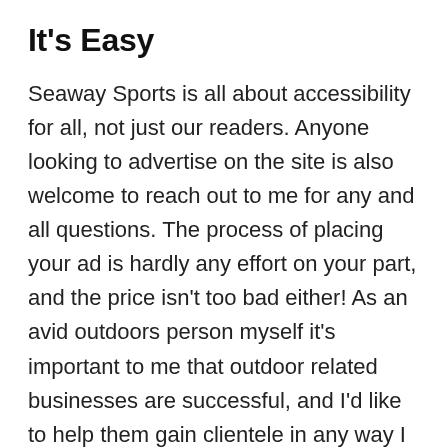It's Easy
Seaway Sports is all about accessibility for all, not just our readers. Anyone looking to advertise on the site is also welcome to reach out to me for any and all questions. The process of placing your ad is hardly any effort on your part, and the price isn't too bad either! As an avid outdoors person myself it's important to me that outdoor related businesses are successful, and I'd like to help them gain clientele in any way I can. This is a great way for me to give back to the businesses that have supported